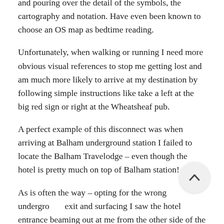and pouring over the detail of the symbols, the cartography and notation. Have even been known to choose an OS map as bedtime reading.
Unfortunately, when walking or running I need more obvious visual references to stop me getting lost and am much more likely to arrive at my destination by following simple instructions like take a left at the big red sign or right at the Wheatsheaf pub.
A perfect example of this disconnect was when arriving at Balham underground station I failed to locate the Balham Travelodge – even though the hotel is pretty much on top of Balham station!
As is often the way – opting for the wrong underground exit and surfacing I saw the hotel entrance beaming out at me from the other side of the road.